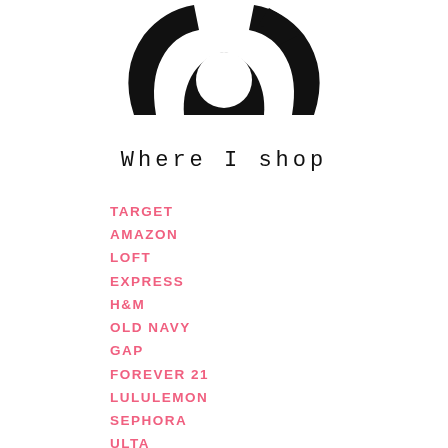[Figure (illustration): Partial black circular/arc shape at the top of the page, resembling the bottom portion of a logo or circular graphic with cutouts, cropped at the top edge.]
Where I shop
TARGET
AMAZON
LOFT
EXPRESS
H&M
OLD NAVY
GAP
FOREVER 21
LULULEMON
SEPHORA
ULTA
NORDSTROM